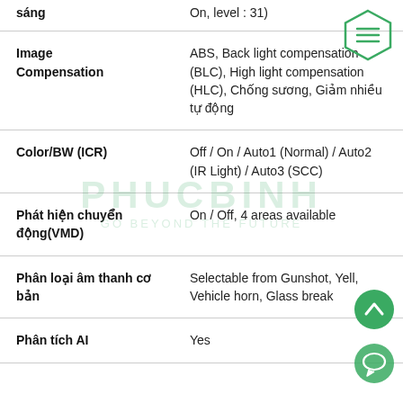| sáng | On, level : 31) |
| Image Compensation | ABS, Back light compensation (BLC), High light compensation (HLC), Chống sương, Giảm nhiều tự động |
| Color/BW (ICR) | Off / On / Auto1 (Normal) / Auto2 (IR Light) / Auto3 (SCC) |
| Phát hiện chuyển động(VMD) | On / Off, 4 areas available |
| Phân loại âm thanh cơ bản | Selectable from Gunshot, Yell, Vehicle horn, Glass break |
| Phân tích AI | Yes |